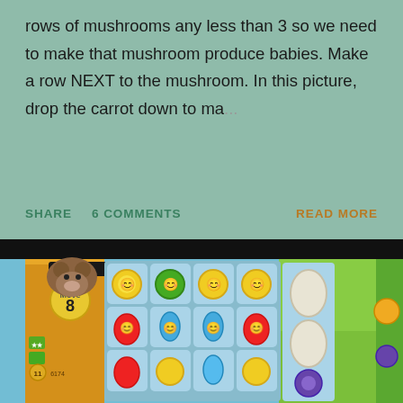rows of mushrooms any less than 3 so we need to make that mushroom produce babies. Make a row NEXT to the mushroom. In this picture, drop the carrot down to ma… ...
SHARE   6 COMMENTS   READ MORE
[Figure (screenshot): Screenshot of a match-3 mobile game (Farm Heroes Saga style) showing a game grid with fruit/vegetable characters including strawberries, water drops, suns, and mushrooms. Left panel shows score 63000 and move counter showing 8. Right side shows egg pieces and a green farm background.]